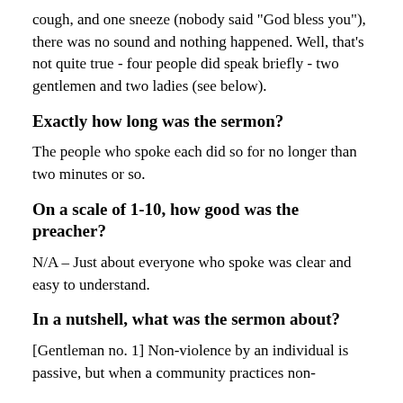cough, and one sneeze (nobody said "God bless you"), there was no sound and nothing happened. Well, that's not quite true - four people did speak briefly - two gentlemen and two ladies (see below).
Exactly how long was the sermon?
The people who spoke each did so for no longer than two minutes or so.
On a scale of 1-10, how good was the preacher?
N/A – Just about everyone who spoke was clear and easy to understand.
In a nutshell, what was the sermon about?
[Gentleman no. 1] Non-violence by an individual is passive, but when a community practices non-